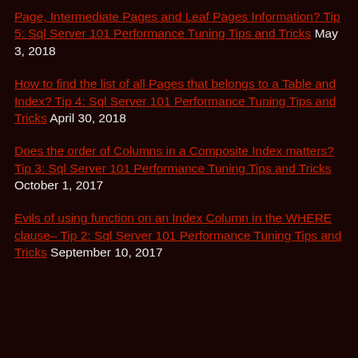Page, Intermediate Pages and Leaf Pages Information? Tip 5: Sql Server 101 Performance Tuning Tips and Tricks May 3, 2018
How to find the list of all Pages that belongs to a Table and Index? Tip 4: Sql Server 101 Performance Tuning Tips and Tricks April 30, 2018
Does the order of Columns in a Composite Index matters? Tip 3: Sql Server 101 Performance Tuning Tips and Tricks October 1, 2017
Evils of using function on an Index Column in the WHERE clause– Tip 2: Sql Server 101 Performance Tuning Tips and Tricks September 10, 2017